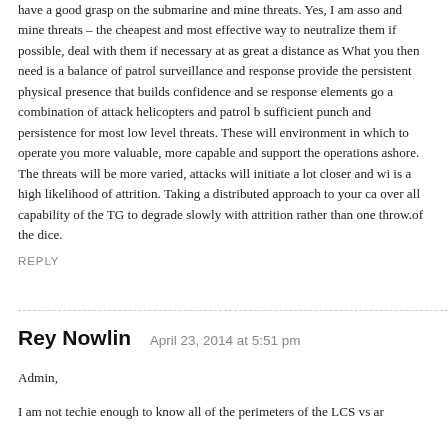have a good grasp on the submarine and mine threats. Yes, I am asso and mine threats – the cheapest and most effective way to neutralize them if possible, deal with them if necessary at as great a distance as What you then need is a balance of patrol surveillance and response provide the persistent physical presence that builds confidence and se response elements go a combination of attack helicopters and patrol b sufficient punch and persistence for most low level threats. These will environment in which to operate you more valuable, more capable and support the operations ashore.
The threats will be more varied, attacks will initiate a lot closer and wi is a high likelihood of attrition. Taking a distributed approach to your ca over all capability of the TG to degrade slowly with attrition rather than one throw.of the dice.
REPLY
Rey Nowlin    April 23, 2014 at 5:51 pm
Admin,
I am not techie enough to know all of the perimeters of the LCS vs ar